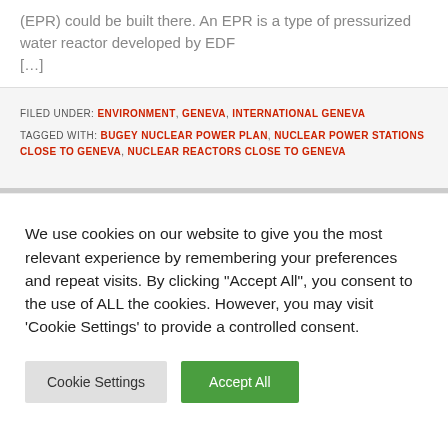(EPR) could be built there. An EPR is a type of pressurized water reactor developed by EDF […]
FILED UNDER: ENVIRONMENT, GENEVA, INTERNATIONAL GENEVA
TAGGED WITH: BUGEY NUCLEAR POWER PLAN, NUCLEAR POWER STATIONS CLOSE TO GENEVA, NUCLEAR REACTORS CLOSE TO GENEVA
We use cookies on our website to give you the most relevant experience by remembering your preferences and repeat visits. By clicking "Accept All", you consent to the use of ALL the cookies. However, you may visit 'Cookie Settings' to provide a controlled consent.